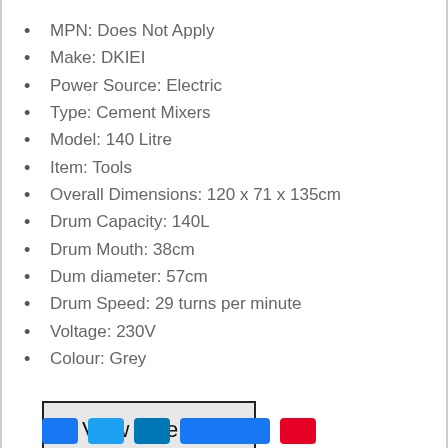MPN: Does Not Apply
Make: DKIEI
Power Source: Electric
Type: Cement Mixers
Model: 140 Litre
Item: Tools
Overall Dimensions: 120 x 71 x 135cm
Drum Capacity: 140L
Drum Mouth: 38cm
Dum diameter: 57cm
Drum Speed: 29 turns per minute
Voltage: 230V
Colour: Grey
View on eBay